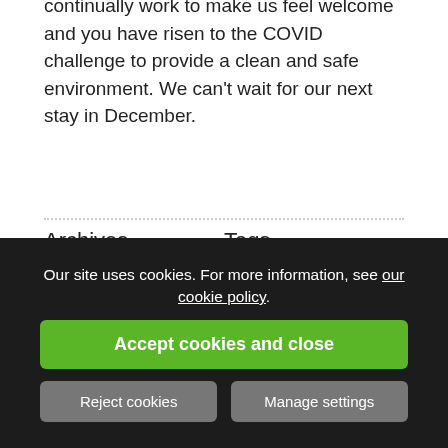continually work to make us feel welcome and you have risen to the COVID challenge to provide a clean and safe environment. We can't wait for our next stay in December.
Archives
August 2022
July 2022
May 2022
March 2022
Tags
"We're Good To Go"
#EscapeTheEveryday
Another award for Harrogate Lifestyle
Our site uses cookies. For more information, see our cookie policy.
Accept cookies and close
Reject cookies
Manage settings